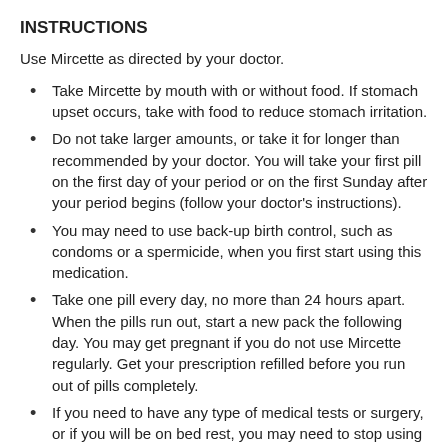INSTRUCTIONS
Use Mircette as directed by your doctor.
Take Mircette by mouth with or without food. If stomach upset occurs, take with food to reduce stomach irritation.
Do not take larger amounts, or take it for longer than recommended by your doctor. You will take your first pill on the first day of your period or on the first Sunday after your period begins (follow your doctor's instructions).
You may need to use back-up birth control, such as condoms or a spermicide, when you first start using this medication.
Take one pill every day, no more than 24 hours apart. When the pills run out, start a new pack the following day. You may get pregnant if you do not use Mircette regularly. Get your prescription refilled before you run out of pills completely.
If you need to have any type of medical tests or surgery, or if you will be on bed rest, you may need to stop using this medication for a short time. Any doctor or surgeon who treats you should know that you are using Mircette.
If you miss 1 dose of Mircette, take it as soon as you remember. Take your next dose at the regular time. This means you may take 2 doses on the same day. You do not